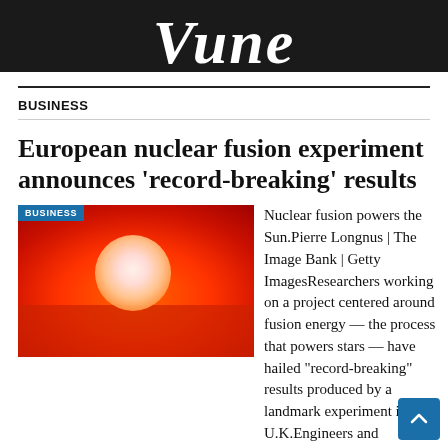Vune
BUSINESS
European nuclear fusion experiment announces 'record-breaking' results
[Figure (photo): Orange and red gradient image of the Sun with a bright white/pale circle representing the solar disk. A 'BUSINESS' badge label overlays the top-left corner.]
Nuclear fusion powers the Sun.Pierre Longnus | The Image Bank | Getty ImagesResearchers working on a project centered around fusion energy — the process that powers stars — have hailed "record-breaking" results produced by a landmark experiment in the U.K.Engineers and scientists from the